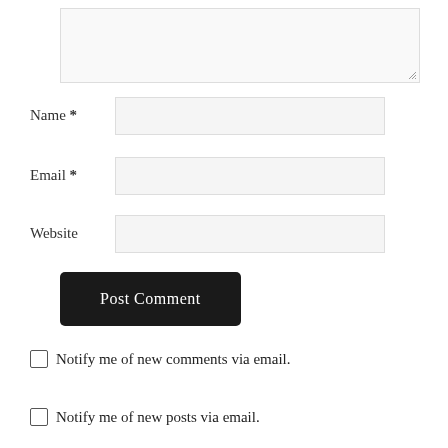[Figure (screenshot): A partially visible textarea input box with a resize handle in the bottom-right corner, set against a light background.]
Name *
[Figure (screenshot): Text input field for Name]
Email *
[Figure (screenshot): Text input field for Email]
Website
[Figure (screenshot): Text input field for Website]
Post Comment
Notify me of new comments via email.
Notify me of new posts via email.